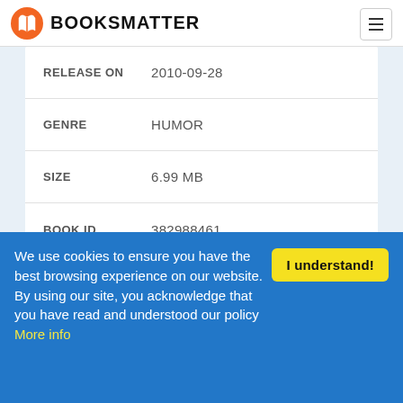BOOKSMATTER
| Field | Value |
| --- | --- |
| RELEASE ON | 2010-09-28 |
| GENRE | HUMOR |
| SIZE | 6.99 MB |
| BOOK ID | 382988461 |
TUCKER MAX
Follow Tucker Max
We use cookies to ensure you have the best browsing experience on our website. By using our site, you acknowledge that you have read and understood our policy More info